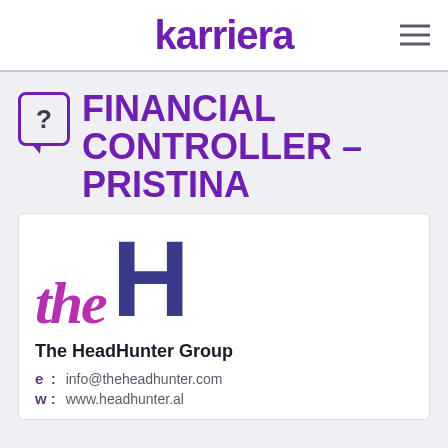karriera
FINANCIAL CONTROLLER – PRISTINA
[Figure (logo): The HeadHunter Group logo with stylized 'the' in magenta italic and large 'H' in dark blue]
The HeadHunter Group
e: info@theheadhunter.com
w: www.headhunter.al